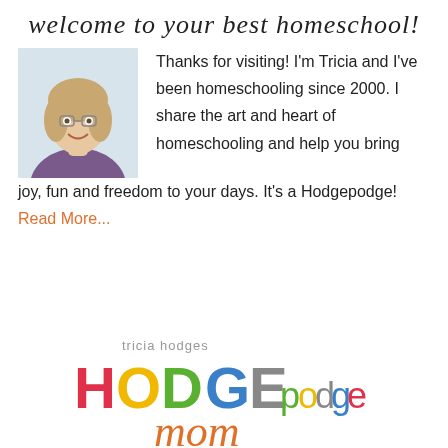welcome to your best homeschool!
[Figure (photo): Portrait photo of a smiling woman with blonde hair and glasses wearing a purple shirt]
Thanks for visiting! I'm Tricia and I've been homeschooling since 2000. I share the art and heart of homeschooling and help you bring joy, fun and freedom to your days. It's a Hodgepodge! Read More...
[Figure (logo): Tricia Hodges HODGEpodge mom logo with colorful letters]